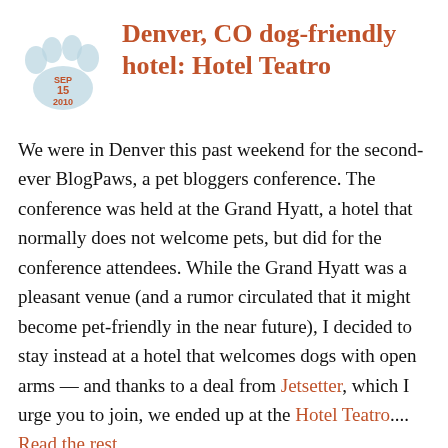[Figure (illustration): Paw print icon with date SEP 15 2010 overlaid]
Denver, CO dog-friendly hotel: Hotel Teatro
We were in Denver this past weekend for the second-ever BlogPaws, a pet bloggers conference. The conference was held at the Grand Hyatt, a hotel that normally does not welcome pets, but did for the conference attendees. While the Grand Hyatt was a pleasant venue (and a rumor circulated that it might become pet-friendly in the near future), I decided to stay instead at a hotel that welcomes dogs with open arms — and thanks to a deal from Jetsetter, which I urge you to join, we ended up at the Hotel Teatro.... Read the rest
3 comments